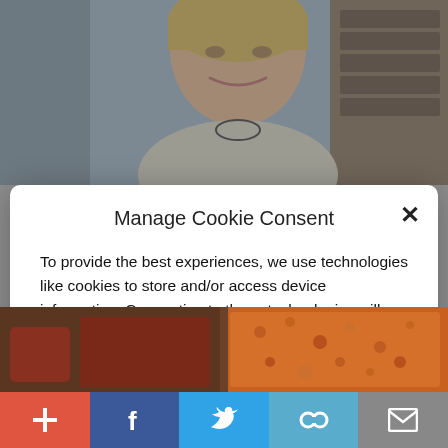[Figure (photo): Photo of a woman (Hillary Clinton) smiling, in a light-colored jacket, in front of bookshelves and blue-gray background.]
Manage Cookie Consent
To provide the best experiences, we use technologies like cookies to store and/or access device information. Consenting to these technologies will allow us to process data such as website statistics. Not consenting or withdrawing consent, may adversely affect certain features and functions.
Accept
Cookie Policy   Privacy Policy
[Figure (photo): Partial photo showing food items - appears to show a dish with reddish-orange crumbled topping.]
[Figure (infographic): Bottom navigation bar with icons: plus (red), Facebook (dark blue), Twitter (light blue), link/chain (teal), email/mail (gray).]